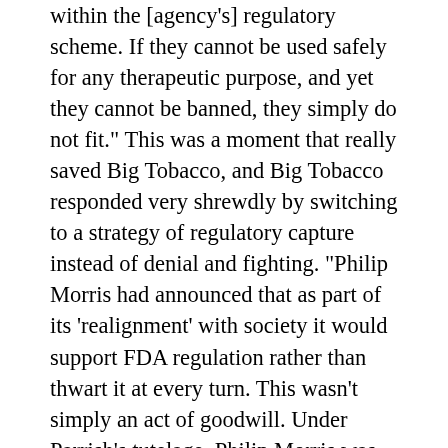within the [agency's] regulatory scheme. If they cannot be used safely for any therapeutic purpose, and yet they cannot be banned, they simply do not fit." This was a moment that really saved Big Tobacco, and Big Tobacco responded very shrewdly by switching to a strategy of regulatory capture instead of denial and fighting. "Philip Morris had announced that as part of its 'realignment' with society it would support FDA regulation rather than thwart it at every turn. This wasn't simply an act of goodwill. Under Parrish's tutelage, Philip Morris was masterfully positioning itself so that instead of locking horns with government regulators, it could work in concert with them to shape the details of any bill... The company had warmed up to the idea of FDA regulation, so long as the agency treated cigarettes as a complex product that, no matter how deadly, still could be accessed by smoking adults for continued legal use." So, in 2000 the Supreme Court punted the issue of tobacco